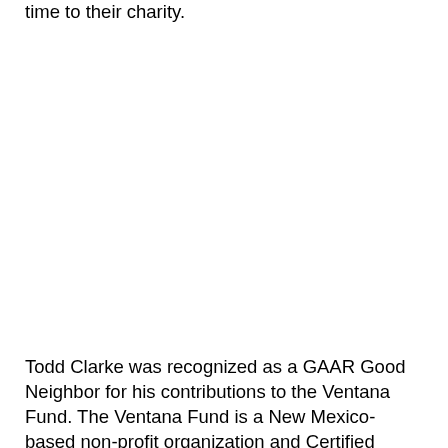time to their charity.
Todd Clarke was recognized as a GAAR Good Neighbor for his contributions to the Ventana Fund. The Ventana Fund is a New Mexico-based non-profit organization and Certified Development